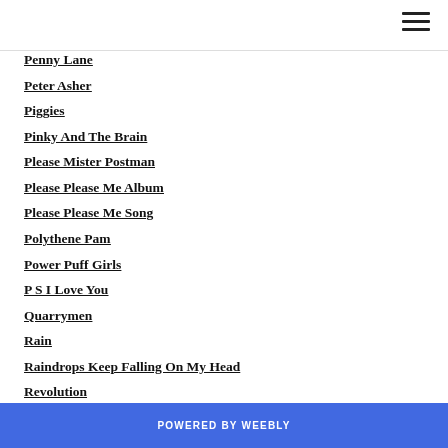Penny Lane
Peter Asher
Piggies
Pinky And The Brain
Please Mister Postman
Please Please Me Album
Please Please Me Song
Polythene Pam
Power Puff Girls
P S I Love You
Quarrymen
Rain
Raindrops Keep Falling On My Head
Revolution
Revolution 1
POWERED BY weebly